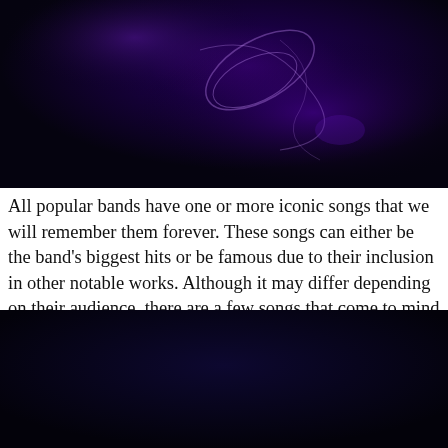[Figure (photo): Dark purple/blue background with abstract swirling light patterns, resembling smoke or musical imagery against a very dark navy background.]
All popular bands have one or more iconic songs that we will remember them forever. These songs can either be the band's biggest hits or be famous due to their inclusion in other notable works. Although it may differ depending on their audience, there are a few songs that come to mind for almost everyone […]]]>
[Figure (photo): Dark navy/black background, bottom portion of the page, same dark color as the top image.]